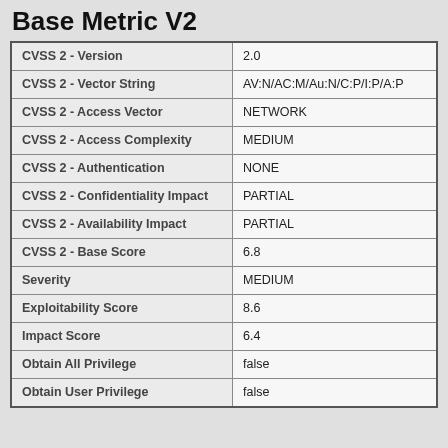Base Metric V2
| Field | Value |
| --- | --- |
| CVSS 2 - Version | 2.0 |
| CVSS 2 - Vector String | AV:N/AC:M/Au:N/C:P/I:P/A:P |
| CVSS 2 - Access Vector | NETWORK |
| CVSS 2 - Access Complexity | MEDIUM |
| CVSS 2 - Authentication | NONE |
| CVSS 2 - Confidentiality Impact | PARTIAL |
| CVSS 2 - Availability Impact | PARTIAL |
| CVSS 2 - Base Score | 6.8 |
| Severity | MEDIUM |
| Exploitability Score | 8.6 |
| Impact Score | 6.4 |
| Obtain All Privilege | false |
| Obtain User Privilege | false |